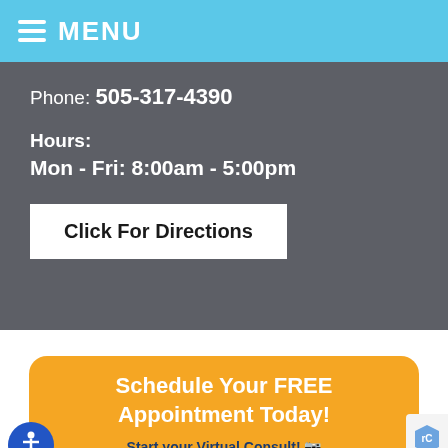MENU
Phone: 505-317-4390
Hours:
Mon - Fri: 8:00am - 5:00pm
Click For Directions
Schedule Your FREE Appointment Today!
Start your Virtual Consult!
powered by SmileSnap